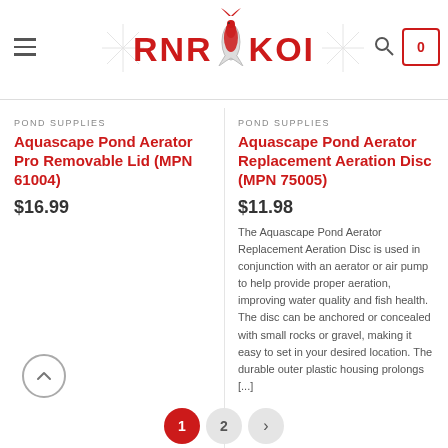RNR KOI
POND SUPPLIES
Aquascape Pond Aerator Pro Removable Lid (MPN 61004)
$16.99
POND SUPPLIES
Aquascape Pond Aerator Replacement Aeration Disc (MPN 75005)
$11.98
The Aquascape Pond Aerator Replacement Aeration Disc is used in conjunction with an aerator or air pump to help provide proper aeration, improving water quality and fish health. The disc can be anchored or concealed with small rocks or gravel, making it easy to set in your desired location. The durable outer plastic housing prolongs [...]